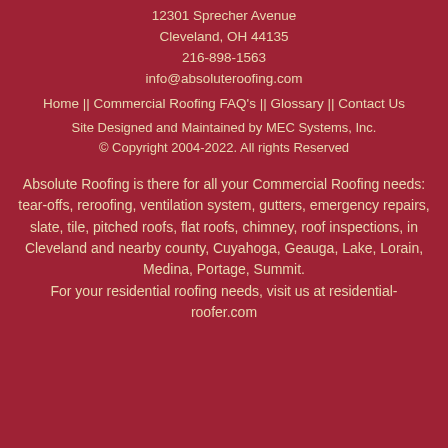12301 Sprecher Avenue
Cleveland, OH 44135
216-898-1563
info@absoluteroofing.com
Home || Commercial Roofing FAQ's || Glossary || Contact Us
Site Designed and Maintained by MEC Systems, Inc.
© Copyright 2004-2022. All rights Reserved
Absolute Roofing is there for all your Commercial Roofing needs: tear-offs, reroofing, ventilation system, gutters, emergency repairs, slate, tile, pitched roofs, flat roofs, chimney, roof inspections, in Cleveland and nearby county, Cuyahoga, Geauga, Lake, Lorain, Medina, Portage, Summit.
For your residential roofing needs, visit us at residential-roofer.com